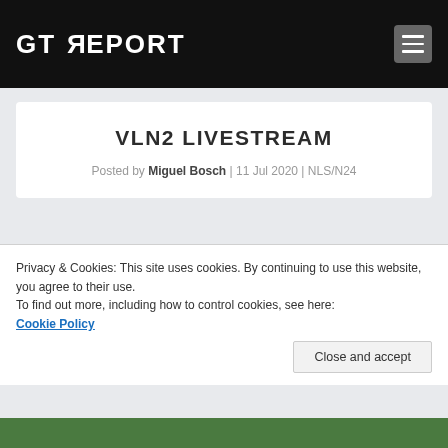GT REPORT
VLN2 LIVESTREAM
Posted by Miguel Bosch | 11 Jul 2020 | NLS/N24
Privacy & Cookies: This site uses cookies. By continuing to use this website, you agree to their use.
To find out more, including how to control cookies, see here: Cookie Policy
Close and accept